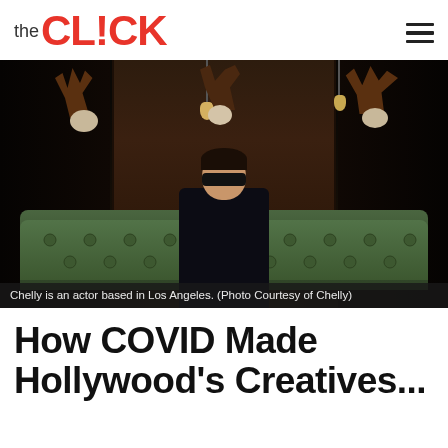the CLICK
[Figure (photo): A person wearing sunglasses and a black suit sitting on a green tufted sofa in a dark interior decorated with animal skull mounts and pendant lights.]
Chelly is an actor based in Los Angeles. (Photo Courtesy of Chelly)
How COVID Made Hollywood's Creatives...